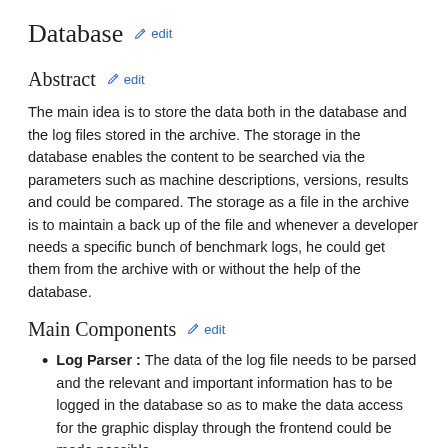Database  edit
Abstract  edit
The main idea is to store the data both in the database and the log files stored in the archive. The storage in the database enables the content to be searched via the parameters such as machine descriptions, versions, results and could be compared. The storage as a file in the archive is to maintain a back up of the file and whenever a developer needs a specific bunch of benchmark logs, he could get them from the archive with or without the help of the database.
Main Components  edit
Log Parser : The data of the log file needs to be parsed and the relevant and important information has to be logged in the database so as to make the data access for the graphic display through the frontend could be made possible.